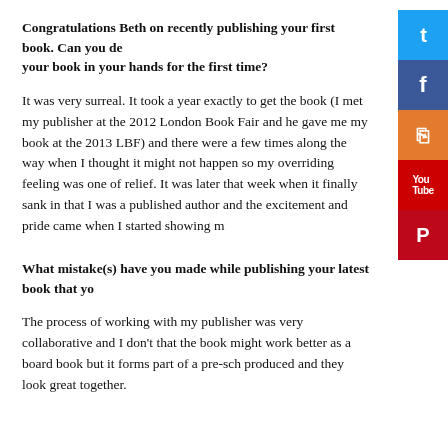Congratulations Beth on recently publishing your first book. Can you describe holding your book in your hands for the first time?
It was very surreal. It took a year exactly to get the book (I met my publisher at the 2012 London Book Fair and he gave me my book at the 2013 LBF) and there were a few times along the way when I thought it might not happen so my overriding feeling was one of relief. It was later that week when it finally sank in that I was a published author and the excitement and pride came when I started showing m
What mistake(s) have you made while publishing your latest book that yo
The process of working with my publisher was very collaborative and I don't that the book might work better as a board book but it forms part of a pre-sch produced and they look great together.